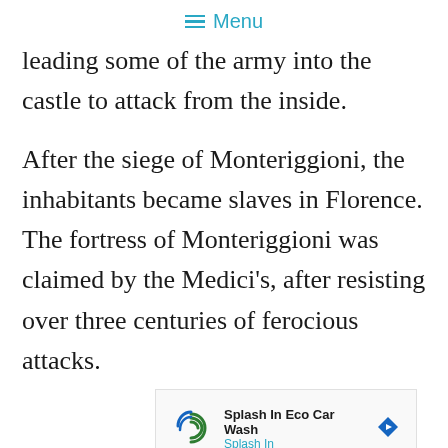≡ Menu
leading some of the army into the castle to attack from the inside.
After the siege of Monteriggioni, the inhabitants became slaves in Florence. The fortress of Monteriggioni was claimed by the Medici's, after resisting over three centuries of ferocious attacks.
[Figure (other): Advertisement banner for Splash In Eco Car Wash with logo and navigation arrow icon]